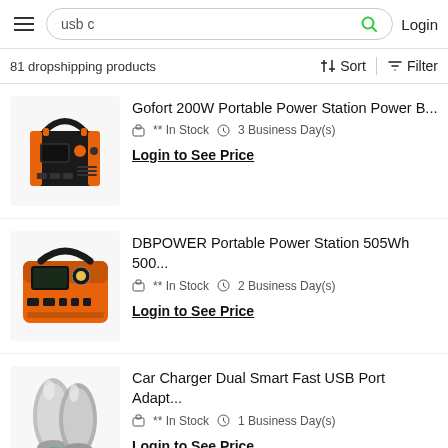usb c   Login
81 dropshipping products
[Figure (photo): Gofort 200W portable power station, black and orange color, with handle on top]
Gofort 200W Portable Power Station Power B...
** In Stock   3 Business Day(s)
Login to See Price
[Figure (photo): DBPOWER portable power station 505Wh, orange and black color, with carry handle]
DBPOWER Portable Power Station 505Wh 500...
** In Stock   2 Business Day(s)
Login to See Price
[Figure (photo): Car charger dual smart fast USB port adapter, metallic silver color]
Car Charger Dual Smart Fast USB Port Adapt...
** In Stock   1 Business Day(s)
Login to See Price